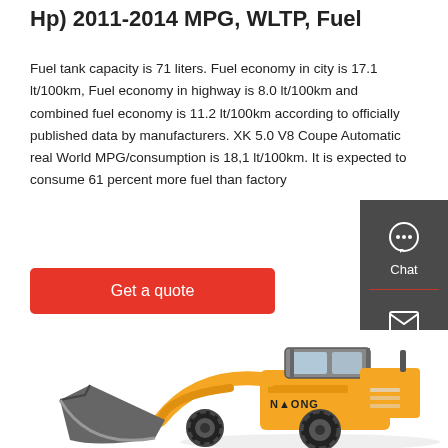Hp) 2011-2014 MPG, WLTP, Fuel
Fuel tank capacity is 71 liters. Fuel economy in city is 17.1 lt/100km, Fuel economy in highway is 8.0 lt/100km and combined fuel economy is 11.2 lt/100km according to officially published data by manufacturers. XK 5.0 V8 Coupe Automatic real World MPG/consumption is 18,1 lt/100km. It is expected to consume 61 percent more fuel than factory
Get a quote
[Figure (screenshot): Right-side floating contact sidebar with Chat, Email, and Contact icon buttons on dark gray background]
[Figure (photo): Yellow construction wheel loader (front loader) with NAONG branding, photographed from the front-left angle on white background]